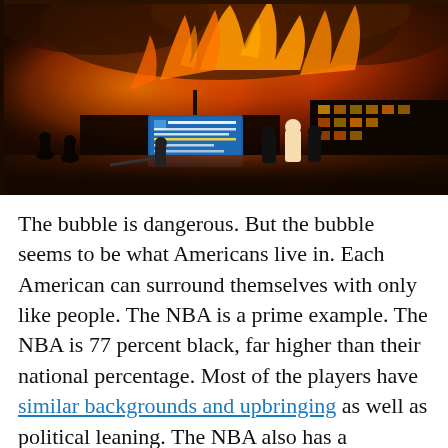[Figure (photo): Night-time photo of a large building fire with orange flames and smoke filling the sky. Several people are silhouetted in the foreground. A blue sign reads 'Crisis Prevention Center / Crisis Line 262-623-7766'. Firefighters and bystanders are visible near the burning structure.]
The bubble is dangerous. But the bubble seems to be what Americans live in. Each American can surround themselves with only like people. The NBA is a prime example. The NBA is 77 percent black, far higher than their national percentage. Most of the players have similar backgrounds and upbringing as well as political leaning. The NBA also has a